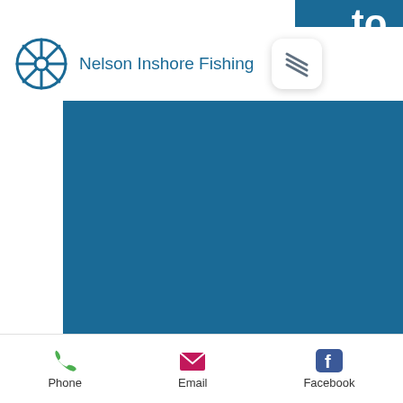to.
[Figure (screenshot): Mobile app header showing Nelson Inshore Fishing with a ship wheel icon and menu button]
[Figure (photo): Large blue rectangle filling the main content area of the mobile screen]
Phone
Email
Facebook